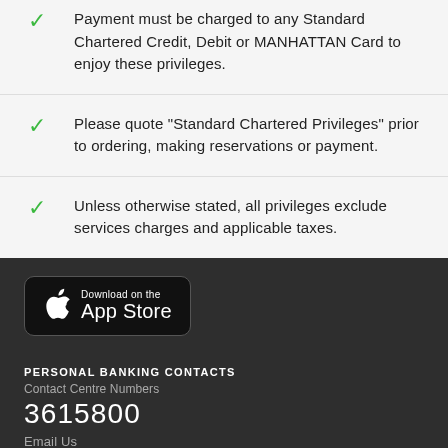Payment must be charged to any Standard Chartered Credit, Debit or MANHATTAN Card to enjoy these privileges.
Please quote "Standard Chartered Privileges" prior to ordering, making reservations or payment.
Unless otherwise stated, all privileges exclude services charges and applicable taxes.
[Figure (logo): Download on the App Store button]
PERSONAL BANKING CONTACTS
Contact Centre Numbers
3615800
Email Us